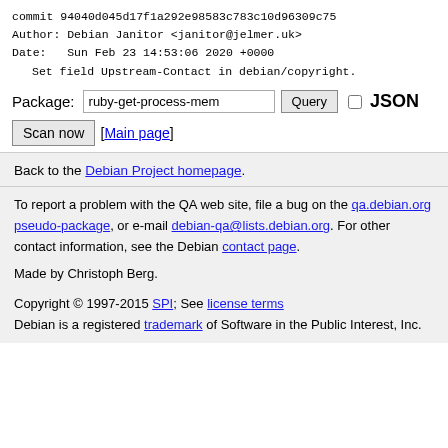commit 94040d045d17f1a292e98583c783c10d96309c75
Author: Debian Janitor <janitor@jelmer.uk>
Date:   Sun Feb 23 14:53:06 2020 +0000

    Set field Upstream-Contact in debian/copyright.
Package: ruby-get-process-mem  [Query]  [ ] JSON
[Scan now] [Main page]
Back to the Debian Project homepage.
To report a problem with the QA web site, file a bug on the qa.debian.org pseudo-package, or e-mail debian-qa@lists.debian.org. For other contact information, see the Debian contact page.

Made by Christoph Berg.

Copyright © 1997-2015 SPI; See license terms
Debian is a registered trademark of Software in the Public Interest, Inc.